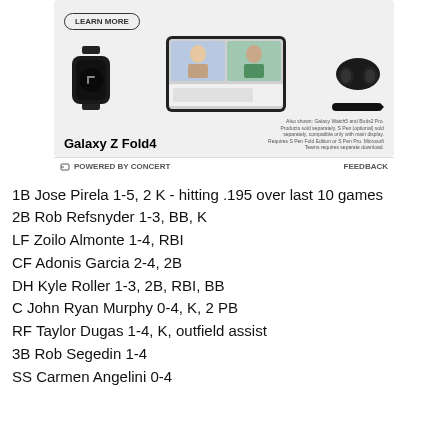[Figure (photo): Samsung Galaxy Z Fold4 advertisement showing a smartwatch, foldable smartphone with video call displayed, wireless earbuds, and a stylus pen. Includes a 'Learn More' button and fine print text. Powered by Concert bar with Feedback link below.]
1B Jose Pirela 1-5, 2 K - hitting .195 over last 10 games
2B Rob Refsnyder 1-3, BB, K
LF Zoilo Almonte 1-4, RBI
CF Adonis Garcia 2-4, 2B
DH Kyle Roller 1-3, 2B, RBI, BB
C John Ryan Murphy 0-4, K, 2 PB
RF Taylor Dugas 1-4, K, outfield assist
3B Rob Segedin 1-4
SS Carmen Angelini 0-4